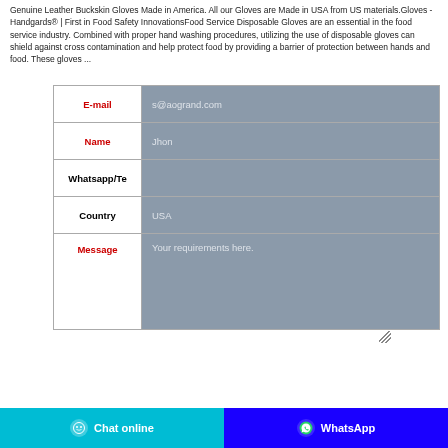Genuine Leather Buckskin Gloves Made in America. All our Gloves are Made in USA from US materials.Gloves - Handgards® | First in Food Safety InnovationsFood Service Disposable Gloves are an essential in the food service industry. Combined with proper hand washing procedures, utilizing the use of disposable gloves can shield against cross contamination and help protect food by providing a barrier of protection between hands and food. These gloves ...
| Field | Value |
| --- | --- |
| E-mail | s@aogrand.com |
| Name | Jhon |
| Whatsapp/Te |  |
| Country | USA |
| Message | Your requirements here. |
Chat online
WhatsApp